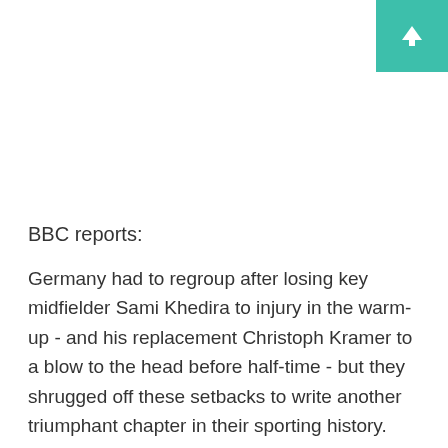[Figure (other): Teal/green button with upward arrow icon in top-right corner]
BBC reports:
Germany had to regroup after losing key midfielder Sami Khedira to injury in the warm-up - and his replacement Christoph Kramer to a blow to the head before half-time - but they shrugged off these setbacks to write another triumphant chapter in their sporting history.
Argentina's fans were in the vast majority of a crowd